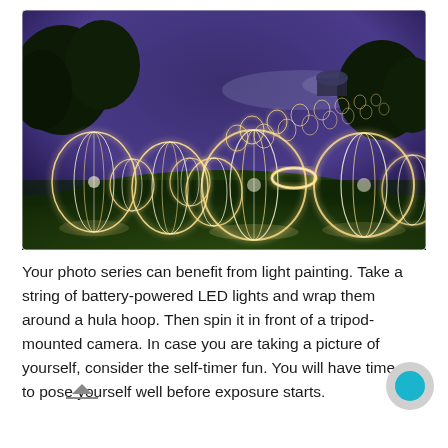[Figure (photo): Night-time outdoor photograph showing numerous glowing light orbs (created by light painting with spinning LED hula hoops) arranged across a grassy field, with trees and a domed building visible in the background under a purple twilight sky.]
Your photo series can benefit from light painting. Take a string of battery-powered LED lights and wrap them around a hula hoop. Then spin it in front of a tripod-mounted camera. In case you are taking a picture of yourself, consider the self-timer fun. You will have time to pose yourself well before exposure starts.